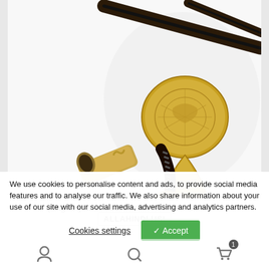[Figure (photo): Close-up photograph of an M-1853 French Vice-Admiral Sword showing the ornate gold brass guard with engraved circular pommel, wrapped leather grip with wire binding, and scabbard throat piece against a white background.]
(English) M-1853 French Vice-Admiral Sword
ALLAHINDLUS!
We use cookies to personalise content and ads, to provide social media features and to analyse our traffic. We also share information about your use of our site with our social media, advertising and analytics partners.
Cookies settings
✓ Accept